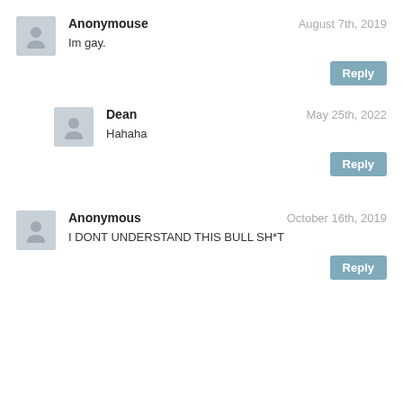Anonymouse — August 7th, 2019
Im gay.
Reply
Dean — May 25th, 2022
Hahaha
Reply
Anonymous — October 16th, 2019
I DONT UNDERSTAND THIS BULL SH*T
Reply